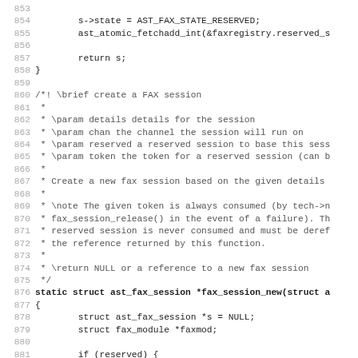Source code listing, lines 853-885, C code for fax session management